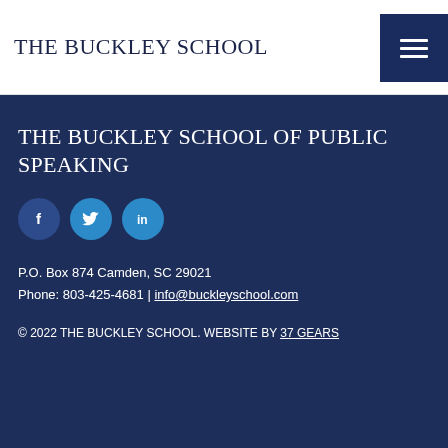THE BUCKLEY SCHOOL
THE BUCKLEY SCHOOL OF PUBLIC SPEAKING
[Figure (illustration): Three social media icon buttons: Facebook (dark blue circle with 'f'), Twitter (medium blue circle with bird icon), LinkedIn (medium blue circle with 'in')]
P.O. Box 874 Camden, SC 29021
Phone: 803-425-4681 | info@buckleyschool.com
© 2022 THE BUCKLEY SCHOOL. WEBSITE BY 37 GEARS